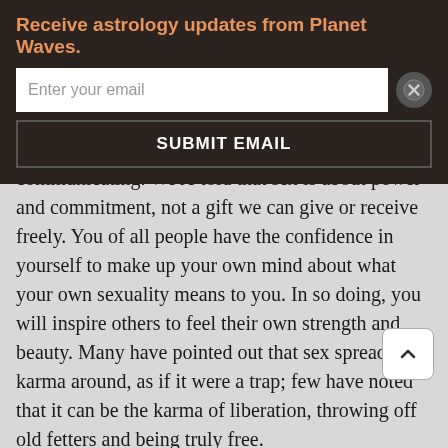Receive astrology updates from Planet Waves.
[Figure (screenshot): Email subscription form with text input 'Enter your email', a close button (X), and a 'SUBMIT EMAIL' button]
communicating. We're told that sex is about power and commitment, not a gift we can give or receive freely. You of all people have the confidence in yourself to make up your own mind about what your own sexuality means to you. In so doing, you will inspire others to feel their own strength and beauty. Many have pointed out that sex spreads karma around, as if it were a trap; few have noted that it can be the karma of liberation, throwing off old fetters and being truly free.
Virgo (Aug. 23-Sep. 22)
You're under so many influences, it may seem